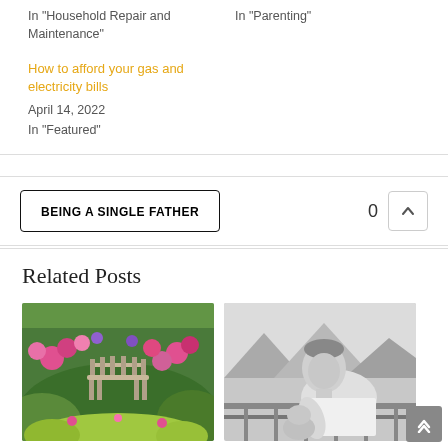In "Household Repair and Maintenance"
In "Parenting"
How to afford your gas and electricity bills
April 14, 2022
In "Featured"
BEING A SINGLE FATHER
0
Related Posts
[Figure (photo): Colorful garden with pink and yellow flowers and a bench]
[Figure (photo): Black and white photo of a father looking down at a child]